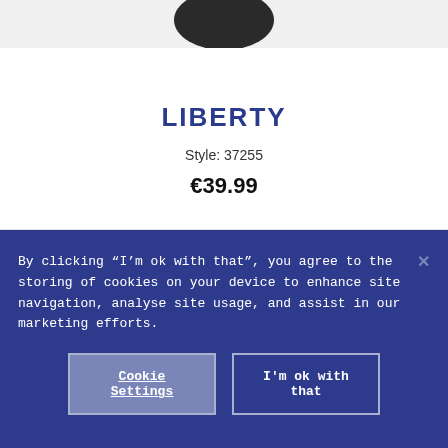[Figure (photo): Partial view of a shoe at the very top of the page (cropped, only the sole/toe area visible)]
LIBERTY
Style: 37255
€39.99
By clicking “I’m ok with that”, you agree to the storing of cookies on your device to enhance site navigation, analyse site usage, and assist in our marketing efforts.
Cookie Settings
I'm ok with that